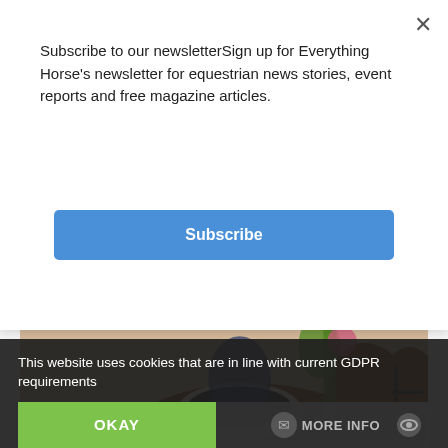Subscribe to our newsletterSign up for Everything Horse's newsletter for equestrian news stories, event reports and free magazine articles.
Subscribe
[Figure (photo): Photo of a chestnut horse being ridden, wearing a saddle and bridle, indoors with a plant visible in background]
Eye catching 17hh 7-year-old Gelding
Eye catching 17hh 7-year-old Gelding For Sale More info...
This website uses cookies that are in line with current GDPR requirements
OKAY
MORE INFO